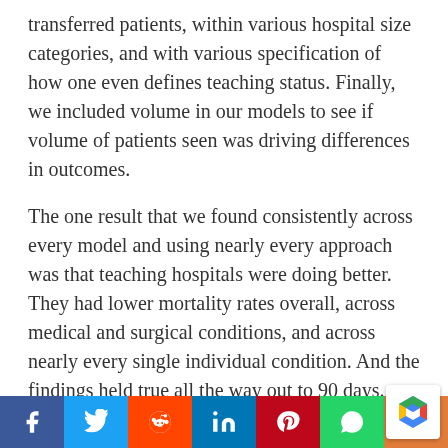transferred patients, within various hospital size categories, and with various specification of how one even defines teaching status. Finally, we included volume in our models to see if volume of patients seen was driving differences in outcomes.
The one result that we found consistently across every model and using nearly every approach was that teaching hospitals were doing better. They had lower mortality rates overall, across medical and surgical conditions, and across nearly every single individual condition. And the findings held true all the way out to 90 days.
What our findings mean
This is the first broad, post-ACA study examining
f | Twitter | Reddit | in | P | WhatsApp | Share